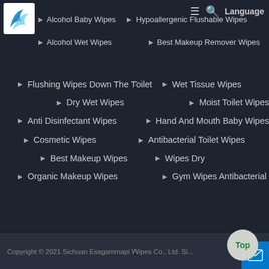Navigation menu with logo, hamburger icon, search icon, Language
Alcohol Baby Wipes
Hypoallergenic Flushable Wipes
Alcohol Wet Wipes
Best Makeup Remover Wipes
Flushing Wipes Down The Toilet
Wet Tissue Wipes
Dry Wet Wipes
Moist Toilet Wipes
Anti Disinfectant Wipes
Hand And Mouth Baby Wipes
Cosmetic Wipes
Antibacterial Toilet Wipes
Best Makeup Wipes
Wipes Dry
Organic Makeup Wipes
Gym Wipes Antibacterial
Copyright © 2021 Sichuan Esagammapi Wipes Co., Ltd. Si...